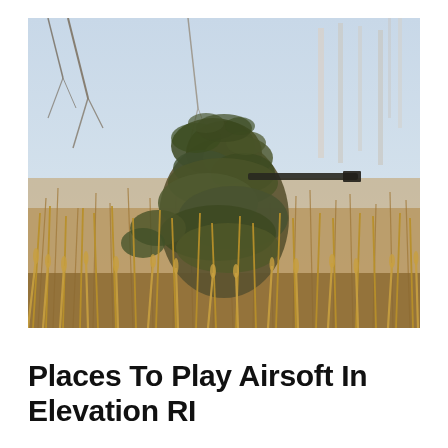[Figure (photo): A person wearing a full ghillie suit camouflaged among tall dry grass and bare trees in a winter woodland setting, holding a rifle and blending into the natural surroundings.]
Places To Play Airsoft In Elevation RI...